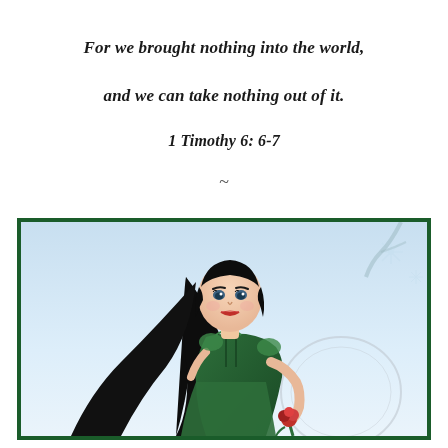For we brought nothing into the world,
and we can take nothing out of it.
1 Timothy 6: 6-7
~
[Figure (illustration): Animated illustration of a young woman with long black hair wearing a green dress, holding a red rose, set against a light blue sky background with snowflake-like decorations, framed with a dark green border.]